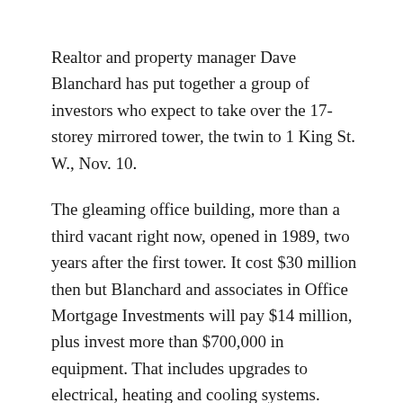Realtor and property manager Dave Blanchard has put together a group of investors who expect to take over the 17-storey mirrored tower, the twin to 1 King St. W., Nov. 10.
The gleaming office building, more than a third vacant right now, opened in 1989, two years after the first tower. It cost $30 million then but Blanchard and associates in Office Mortgage Investments will pay $14 million, plus invest more than $700,000 in equipment. That includes upgrades to electrical, heating and cooling systems.